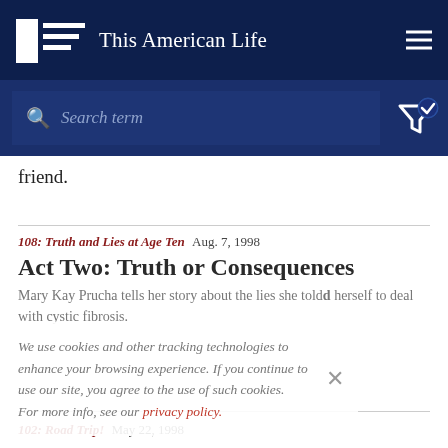This American Life
Search term
friend.
108: Truth and Lies at Age Ten  Aug. 7, 1998
Act Two: Truth or Consequences
Mary Kay Prucha tells her story about the lies she told herself to deal with cystic fibrosis.
We use cookies and other tracking technologies to enhance your browsing experience. If you continue to use our site, you agree to the use of such cookies. For more info, see our privacy policy.
102: Road Trip!  May 22, 1998